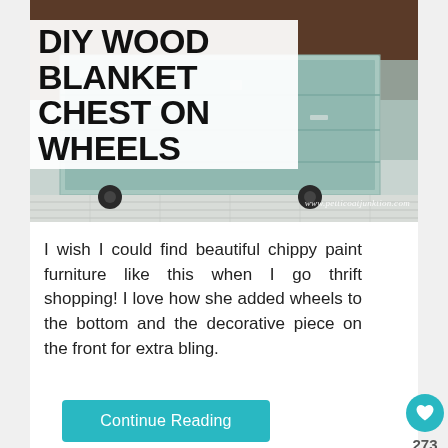[Figure (photo): DIY wood blanket chest on wheels - chippy turquoise painted wooden chest with caster wheels on a light wood floor surface]
DIY WOOD BLANKET CHEST ON WHEELS
I wish I could find beautiful chippy paint furniture like this when I go thrift shopping! I love how she added wheels to the bottom and the decorative piece on the front for extra bling.
Continue Reading
273
You can help hungry kids.  NO KID HUNGRY  LEARN HOW